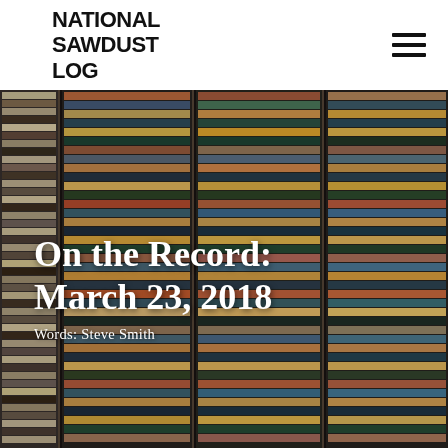NATIONAL SAWDUST LOG
[Figure (photo): A wall of stacked CDs/records viewed from the side, showing colorful spines arranged in columns]
On the Record: March 23, 2018
Words: Steve Smith